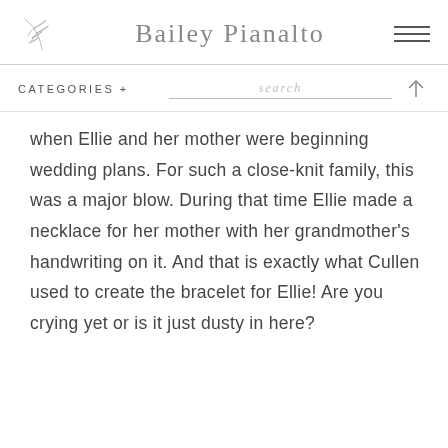Bailey Pianalto
CATEGORIES +  search
when Ellie and her mother were beginning wedding plans. For such a close-knit family, this was a major blow. During that time Ellie made a necklace for her mother with her grandmother's handwriting on it. And that is exactly what Cullen used to create the bracelet for Ellie! Are you crying yet or is it just dusty in here?